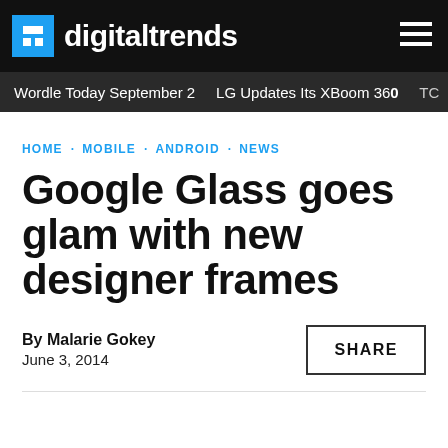digitaltrends
Wordle Today September 2 · LG Updates Its XBoom 360 · TC
HOME · MOBILE · ANDROID · NEWS
Google Glass goes glam with new designer frames
By Malarie Gokey
June 3, 2014